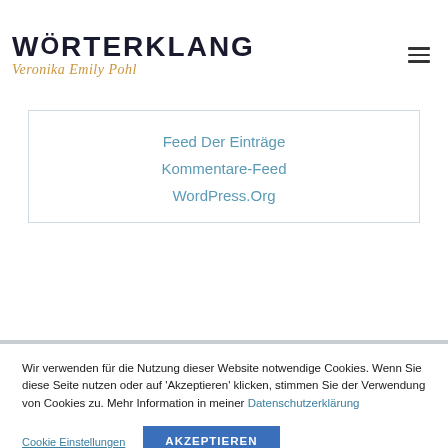WÖRTERKLANG Veronika Emily Pohl
Feed Der Einträge
Kommentare-Feed
WordPress.Org
Wir verwenden für die Nutzung dieser Website notwendige Cookies. Wenn Sie diese Seite nutzen oder auf 'Akzeptieren' klicken, stimmen Sie der Verwendung von Cookies zu. Mehr Information in meiner Datenschutzerklärung
Cookie Einstellungen
AKZEPTIEREN